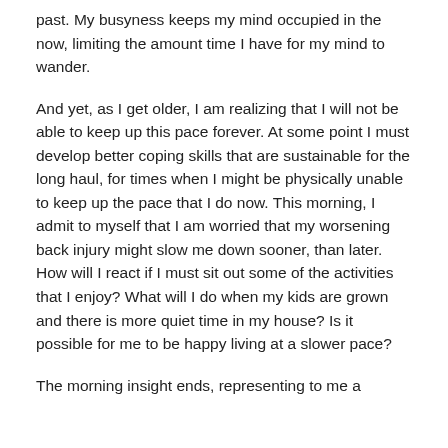past. My busyness keeps my mind occupied in the now, limiting the amount time I have for my mind to wander.
And yet, as I get older, I am realizing that I will not be able to keep up this pace forever. At some point I must develop better coping skills that are sustainable for the long haul, for times when I might be physically unable to keep up the pace that I do now. This morning, I admit to myself that I am worried that my worsening back injury might slow me down sooner, than later. How will I react if I must sit out some of the activities that I enjoy? What will I do when my kids are grown and there is more quiet time in my house? Is it possible for me to be happy living at a slower pace?
The morning insight ends, representing to me a